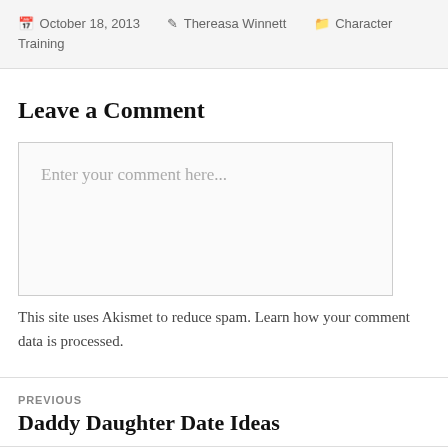October 18, 2013   Thereasa Winnett   Character Training
Leave a Comment
Enter your comment here...
This site uses Akismet to reduce spam. Learn how your comment data is processed.
PREVIOUS
Daddy Daughter Date Ideas
NEXT
Helping Kids See God